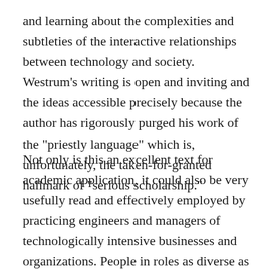and learning about the complexities and subtleties of the interactive relationships between technology and society. Westrum's writing is open and inviting and the ideas accessible precisely because the author has rigorously purged his work of the "priestly language" which is, unfortunately, the taken-for-granted hallmark of "serious scholarship."
Not only is this an excellent text for academic application, it could also be very usefully read and effectively employed by practicing engineers and managers of technologically intensive businesses and organizations. People in roles as diverse as military command and hospital administration could use the insights and broadly-drawn data from this book to